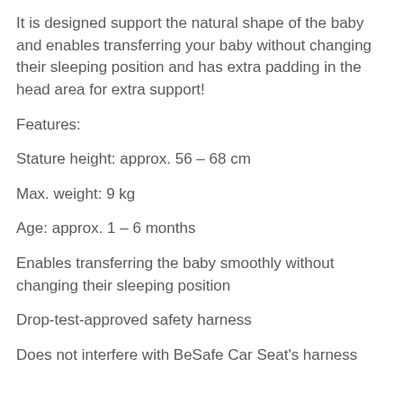It is designed support the natural shape of the baby and enables transferring your baby without changing their sleeping position and has extra padding in the head area for extra support!
Features:
Stature height: approx. 56 – 68 cm
Max. weight: 9 kg
Age: approx. 1 – 6 months
Enables transferring the baby smoothly without changing their sleeping position
Drop-test-approved safety harness
Does not interfere with BeSafe Car Seat's harness